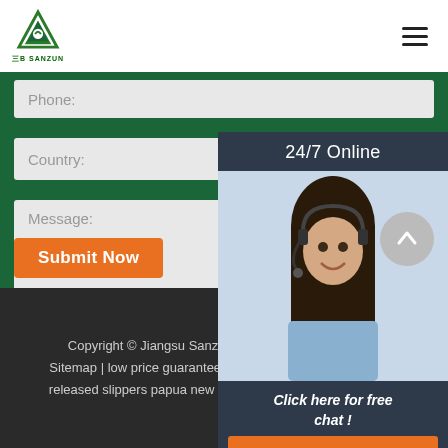Sanzun logo and navigation header
Phone:
Country:
Message:
24/7 Online
[Figure (photo): Customer service representative wearing a headset, smiling]
Click here for free chat !
QUOTATION
Submit Now
Copyright © Jiangsu Sanzun new material industry c... Sitemap | low price guaranteed spa slippers venezuela | new released slippers papua new guinea | disney slippers women